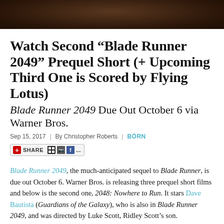[Figure (photo): Dark brownish image bar at top of page, appears to be a cropped movie still]
Watch Second “Blade Runner 2049” Prequel Short (+ Upcoming Third One is Scored by Flying Lotus)
Blade Runner 2049 Due Out October 6 via Warner Bros.
Sep 15, 2017  |  By Christopher Roberts  |  BÖRN
[Figure (other): Share button with red plus icon, social media share icons including grid icon, Facebook icon, and dots]
Blade Runner 2049, the much-anticipated sequel to Blade Runner, is due out October 6. Warner Bros. is releasing three prequel short films and below is the second one, 2048: Nowhere to Run. It stars Dave Bautista (Guardians of the Galaxy), who is also in Blade Runner 2049, and was directed by Luke Scott, Ridley Scott’s son.
It’s also been announced that the third short, Blade Runner 2022, has been